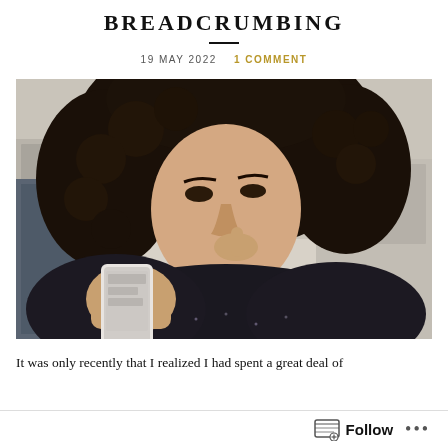BREADCRUMBING
19 MAY 2022   1 COMMENT
[Figure (photo): A woman with curly dark hair holding a smartphone and looking at it with a concerned or puzzled expression, resting her finger near her lip. She is wearing a dark sparkly top. Kitchen background, blurred.]
It was only recently that I realized I had spent a great deal of